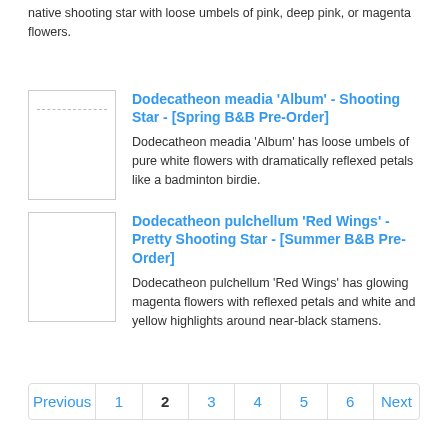native shooting star with loose umbels of pink, deep pink, or magenta flowers.
[Figure (photo): Thumbnail image placeholder for Dodecatheon meadia Album with a dashed line near top]
Dodecatheon meadia 'Album' - Shooting Star - [Spring B&B Pre-Order]
Dodecatheon meadia 'Album' has loose umbels of pure white flowers with dramatically reflexed petals like a badminton birdie.
[Figure (photo): Thumbnail image placeholder for Dodecatheon pulchellum Red Wings]
Dodecatheon pulchellum 'Red Wings' - Pretty Shooting Star - [Summer B&B Pre-Order]
Dodecatheon pulchellum 'Red Wings' has glowing magenta flowers with reflexed petals and white and yellow highlights around near-black stamens.
Previous 1 2 3 4 5 6 Next